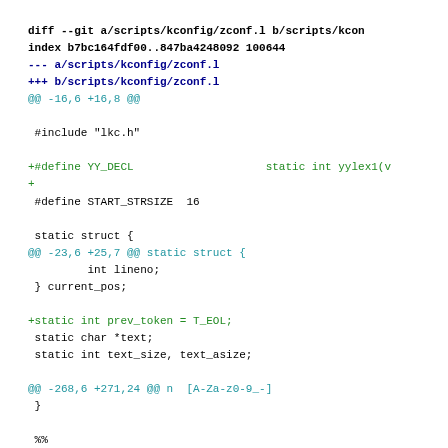diff --git a/scripts/kconfig/zconf.l b/scripts/kconf
index b7bc164fdf00..847ba4248092 100644
--- a/scripts/kconfig/zconf.l
+++ b/scripts/kconfig/zconf.l
@@ -16,6 +16,8 @@

 #include "lkc.h"

+#define YY_DECL                    static int yylex1(v
+
 #define START_STRSIZE  16

 static struct {
@@ -23,6 +25,7 @@ static struct {
         int lineno;
 } current_pos;

+static int prev_token = T_EOL;
 static char *text;
 static int text_size, text_asize;

@@ -268,6 +271,24 @@ n  [A-Za-z0-9_-]
 }

 %%